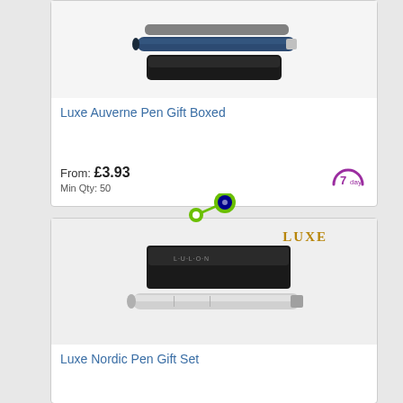[Figure (photo): Product photo of Luxe Auverne Pen Gift Boxed - dark pen with black case]
Luxe Auverne Pen Gift Boxed
From: £3.93
Min Qty: 50
[Figure (photo): Magnify/zoom icon (green circle with eye)]
[Figure (photo): Product photo of Luxe Nordic Pen Gift Set - silver pen with black box, LUXE branding]
Luxe Nordic Pen Gift Set